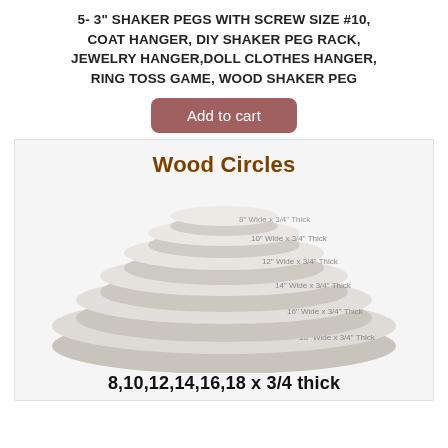5- 3" SHAKER PEGS WITH SCREW SIZE #10, COAT HANGER, DIY SHAKER PEG RACK, JEWELRY HANGER,DOLL CLOTHES HANGER, RING TOSS GAME, WOOD SHAKER PEG
Add to cart
[Figure (illustration): Stacked wood circles of increasing sizes labeled 8", 10", 12", 14", 16", 18" x 3/4" thick, with title 'Wood Circles' and bottom text '8,10,12,14,16,18 x 3/4 thick']